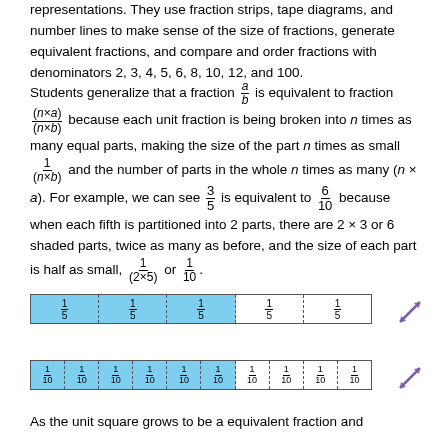representations. They use fraction strips, tape diagrams, and number lines to make sense of the size of fractions, generate equivalent fractions, and compare and order fractions with denominators 2, 3, 4, 5, 6, 8, 10, 12, and 100.
Students generalize that a fraction a/b is equivalent to fraction (n×a)/(n×b) because each unit fraction is being broken into n times as many equal parts, making the size of the part n times as small 1/(n×b) and the number of parts in the whole n times as many (n × a). For example, we can see 3/5 is equivalent to 6/10 because when each fifth is partitioned into 2 parts, there are 2 × 3 or 6 shaded parts, twice as many as before, and the size of each part is half as small, 1/(2×5) or 1/10.
[Figure (illustration): Tape diagram showing fifths strip: 3 shaded cells (1/5 each) and 2 unshaded cells (1/5 each), with a purple resize arrow to the right.]
[Figure (illustration): Tape diagram showing tenths strip: 6 shaded cells (1/10 each) and 4 unshaded cells (1/10 each), with a purple resize arrow to the right.]
As the unit square grows to be a equivalent fraction and